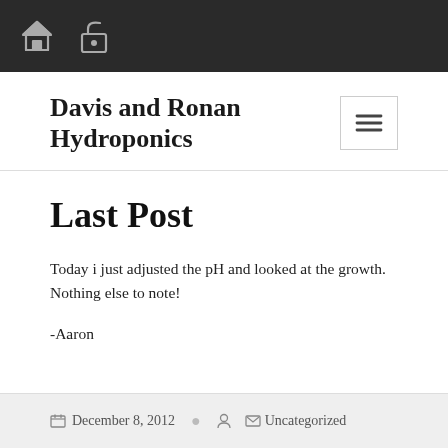Davis and Ronan Hydroponics — navigation bar with home and lock icons
Davis and Ronan Hydroponics
Last Post
Today i just adjusted the pH and looked at the growth. Nothing else to note!
-Aaron
December 8, 2012  Uncategorized